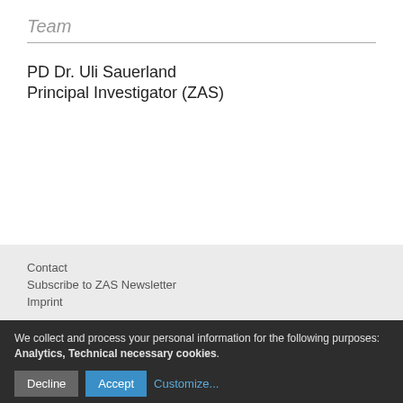Team
PD Dr. Uli Sauerland
Principal Investigator (ZAS)
Contact
Subscribe to ZAS Newsletter
Imprint
We collect and process your personal information for the following purposes: Analytics, Technical necessary cookies.
Decline  Accept  Customize...